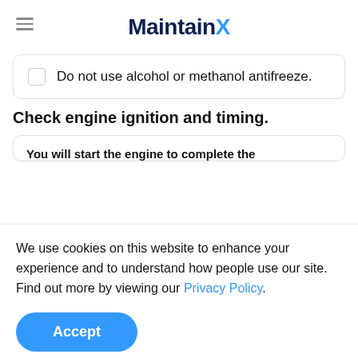MaintainX
Do not use alcohol or methanol antifreeze.
Check engine ignition and timing.
You will start the engine to complete the
We use cookies on this website to enhance your experience and to understand how people use our site. Find out more by viewing our Privacy Policy.
Accept
position